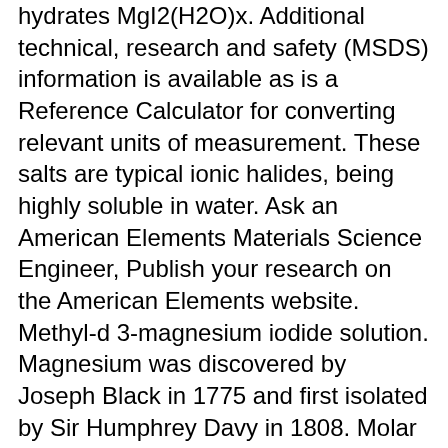hydrates MgI2(H2O)x. Additional technical, research and safety (MSDS) information is available as is a Reference Calculator for converting relevant units of measurement. These salts are typical ionic halides, being highly soluble in water. Ask an American Elements Materials Science Engineer, Publish your research on the American Elements website. Methyl-d 3-magnesium iodide solution. Magnesium was discovered by Joseph Black in 1775 and first isolated by Sir Humphrey Davy in 1808. Molar mass of MgI2 = 278.11394 g/mol. Magnesium iodide is the name for the chemical compounds with the formulas MgI2 and its various hydrates MgI2(H2O)x. It is can be found in minerals such as brucite, carnallite, dolomite, magnesite, olivine and talc. Molecular Weight. Furthermore, I exists in various forms such as \( MgI_{2} \) (anhydrous), \( MgI_{2} \cdot 6 H_{2}O \) (hexahydrate), \( MgI_{2} \cdot 8 H_{2}O \) (octahydrate). The percentage by weight of any atom or group of atoms in a compound can be computed by dividing the total weight of the atom (or group of atoms) in the formula by the formula